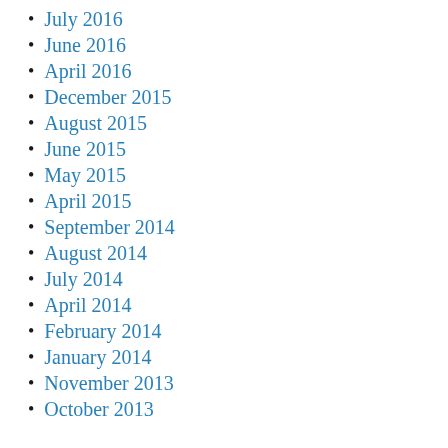July 2016
June 2016
April 2016
December 2015
August 2015
June 2015
May 2015
April 2015
September 2014
August 2014
July 2014
April 2014
February 2014
January 2014
November 2013
October 2013